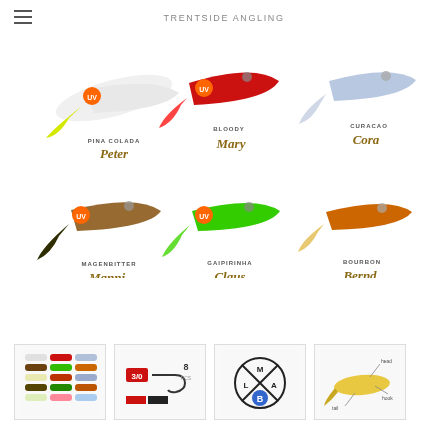TRENTSIDE ANGLING
[Figure (photo): Six fishing soft lures (swimbaits) displayed in two rows of three. Each lure is labeled with a cocktail-themed name and color: top row: Pina Colada Peter (white/yellow, UV badge), Bloody Mary (red, UV badge), Curacao Cora (blue/silver); bottom row: Magenbitter Manni (brown/olive, UV badge), Gaipirinha Claus (green, UV badge), Bourbon Bernd (orange/tan). Brand names are in stylized gold script.]
[Figure (photo): Thumbnail 1: All six lure variants shown together in a grid.]
[Figure (photo): Thumbnail 2: Hook size indicator showing 3/0 hook and 8 count, with a red/black color swatch.]
[Figure (logo): Thumbnail 3: LMAB circular logo with letters L, M, A, B in quadrants separated by X marks, with B highlighted in blue.]
[Figure (illustration): Thumbnail 4: Diagram of a single lure with labeled parts, shown in yellow/gold color.]